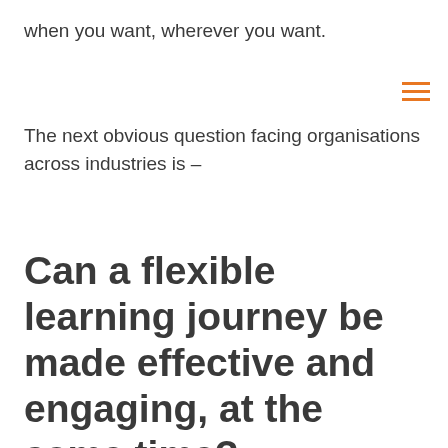when you want, wherever you want.
The next obvious question facing organisations across industries is –
Can a flexible learning journey be made effective and engaging, at the same time?